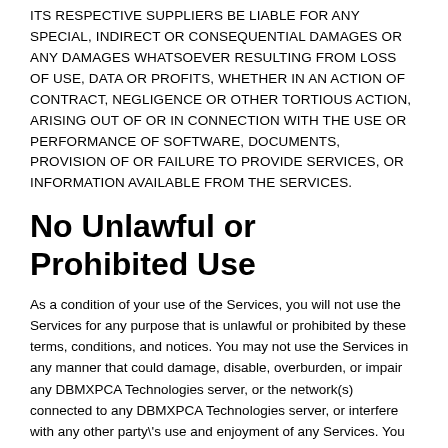ITS RESPECTIVE SUPPLIERS BE LIABLE FOR ANY SPECIAL, INDIRECT OR CONSEQUENTIAL DAMAGES OR ANY DAMAGES WHATSOEVER RESULTING FROM LOSS OF USE, DATA OR PROFITS, WHETHER IN AN ACTION OF CONTRACT, NEGLIGENCE OR OTHER TORTIOUS ACTION, ARISING OUT OF OR IN CONNECTION WITH THE USE OR PERFORMANCE OF SOFTWARE, DOCUMENTS, PROVISION OF OR FAILURE TO PROVIDE SERVICES, OR INFORMATION AVAILABLE FROM THE SERVICES.
No Unlawful or Prohibited Use
As a condition of your use of the Services, you will not use the Services for any purpose that is unlawful or prohibited by these terms, conditions, and notices. You may not use the Services in any manner that could damage, disable, overburden, or impair any DBMXPCA Technologies server, or the network(s) connected to any DBMXPCA Technologies server, or interfere with any other party\'s use and enjoyment of any Services. You may not attempt to gain unauthorized access to any Services,